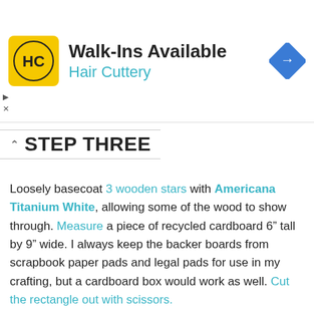[Figure (other): Hair Cuttery advertisement banner: yellow square logo with HC initials, text 'Walk-Ins Available' and 'Hair Cuttery' in teal, blue navigation arrow icon on right]
STEP THREE
Loosely basecoat 3 wooden stars with Americana Titanium White, allowing some of the wood to show through. Measure a piece of recycled cardboard 6" tall by 9" wide. I always keep the backer boards from scrapbook paper pads and legal pads for use in my crafting, but a cardboard box would work as well. Cut the rectangle out with scissors.